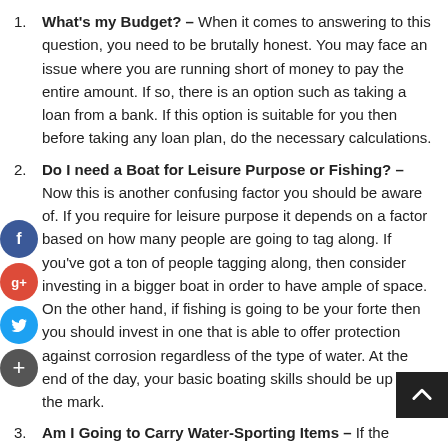What's my Budget? – When it comes to answering to this question, you need to be brutally honest. You may face an issue where you are running short of money to pay the entire amount. If so, there is an option such as taking a loan from a bank. If this option is suitable for you then before taking any loan plan, do the necessary calculations.
Do I need a Boat for Leisure Purpose or Fishing? – Now this is another confusing factor you should be aware of. If you require for leisure purpose it depends on a factor based on how many people are going to tag along. If you've got a ton of people tagging along, then consider investing in a bigger boat in order to have ample of space. On the other hand, if fishing is going to be your forte then you should invest in one that is able to offer protection against corrosion regardless of the type of water. At the end of the day, your basic boating skills should be up to the mark.
Am I Going to Carry Water-Sporting Items – If the answer is